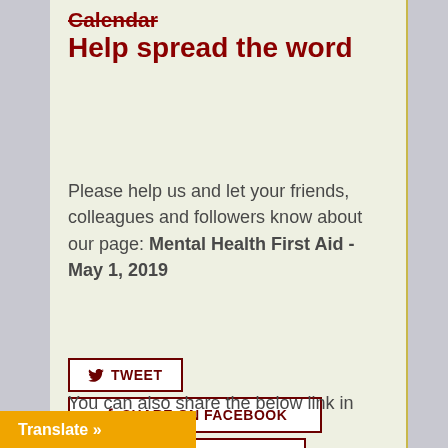Help spread the word
Please help us and let your friends, colleagues and followers know about our page: Mental Health First Aid - May 1, 2019
[Figure (screenshot): Social sharing buttons: TWEET, SHARE ON FACEBOOK, SHARE ON LINKEDIN, EMAIL]
You can also share the below link in an email or
[Figure (other): Translate button bar at bottom left]